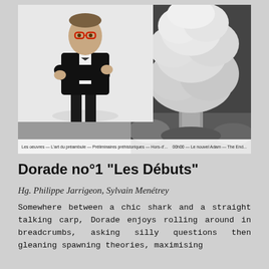[Figure (photo): Composite photo: left side shows a man in a black tuxedo with bow tie and red glasses, arms crossed, against white background; right side shows a large black-and-white photograph of a mushroom cloud explosion. A caption strip runs along the bottom of the image.]
Les oeuvres — L'art du préambule — Préliminaires préhistoriques — Hors-d'... 00h00 — Le nouvel Adam — The End...
Dorade no°1 "Les Débuts"
Hg. Philippe Jarrigeon, Sylvain Menétrey
Somewhere between a chic shark and a straight talking carp, Dorade enjoys rolling around in breadcrumbs, asking silly questions then gleaning spawning theories, maximising